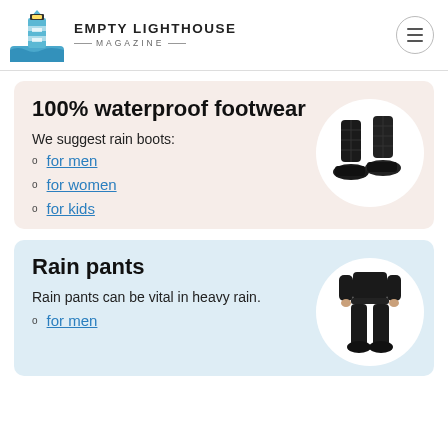EMPTY LIGHTHOUSE MAGAZINE
100% waterproof footwear
We suggest rain boots:
for men
for women
for kids
[Figure (photo): Black quilted rain boots on white circle background]
Rain pants
Rain pants can be vital in heavy rain.
for men
[Figure (photo): Person wearing black rain pants on white circle background]